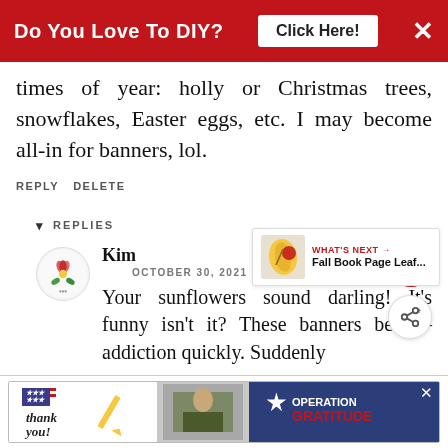[Figure (infographic): Red advertisement banner at top: 'Do You Love To DIY? Click Here!' with a white button and X close icon]
times of year: holly or Christmas trees, snowflakes, Easter eggs, etc. I may become all-in for banners, lol.
REPLY DELETE
▾ REPLIES
[Figure (illustration): Kim's avatar: circular icon with illustrated flowers/leaves on white background]
Kim
OCTOBER 30, 2021 AT 5:55 PM
Your sunflowers sound darling! It's funny isn't it? These banners become an addiction quickly. Suddenly
[Figure (infographic): WHAT'S NEXT → Fall Book Page Leaf... widget with small thumbnail]
[Figure (infographic): Bottom advertisement: Thank you Operation Gratitude banner]